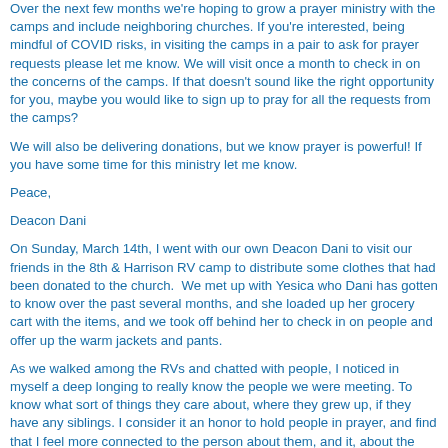Over the next few months we're hoping to grow a prayer ministry with the camps and include neighboring churches. If you're interested, being mindful of COVID risks, in visiting the camps in a pair to ask for prayer requests please let me know. We will visit once a month to check in on the concerns of the camps. If that doesn't sound like the right opportunity for you, maybe you would like to sign up to pray for all the requests from the camps?
We will also be delivering donations, but we know prayer is powerful! If you have some time for this ministry let me know.
Peace,
Deacon Dani
On Sunday, March 14th, I went with our own Deacon Dani to visit our friends in the 8th & Harrison RV camp to distribute some clothes that had been donated to the church.  We met up with Yesica who Dani has gotten to know over the past several months, and she loaded up her grocery cart with the items, and we took off behind her to check in on people and offer up the warm jackets and pants.
As we walked among the RVs and chatted with people, I noticed in myself a deep longing to really know the people we were meeting. To know what sort of things they care about, where they grew up, if they have any siblings. I consider it an honor to hold people in prayer, and find that I feel more connected to the person about them, and it, about the